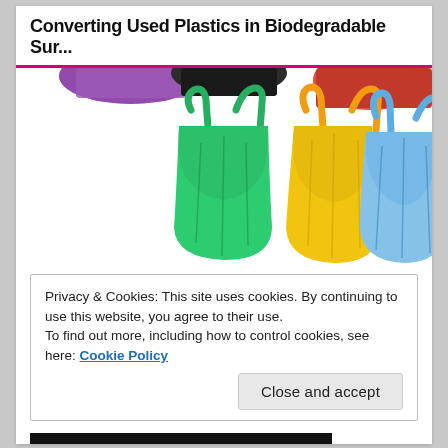Converting Used Plastics in Biodegradable Sur...
[Figure (photo): Multiple colorful plastic shopping bags on white background: purple, black, red (top row cropped), green, yellow, and blue (full bags visible)]
Privacy & Cookies: This site uses cookies. By continuing to use this website, you agree to their use.
To find out more, including how to control cookies, see here: Cookie Policy
Close and accept
JOIN NEWSLETTER